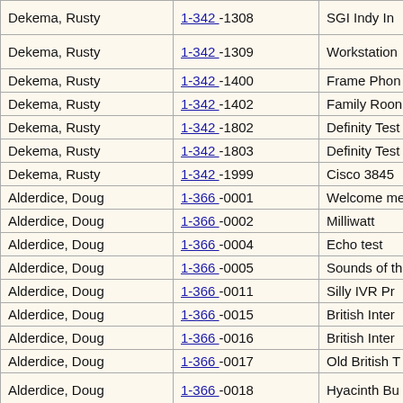| Dekema, Rusty | 1-342 -1308 | SGI Indy In |
| Dekema, Rusty | 1-342 -1309 | Workstation |
| Dekema, Rusty | 1-342 -1400 | Frame Phon |
| Dekema, Rusty | 1-342 -1402 | Family Roon |
| Dekema, Rusty | 1-342 -1802 | Definity Test |
| Dekema, Rusty | 1-342 -1803 | Definity Test |
| Dekema, Rusty | 1-342 -1999 | Cisco 3845 |
| Alderdice, Doug | 1-366 -0001 | Welcome me |
| Alderdice, Doug | 1-366 -0002 | Milliwatt |
| Alderdice, Doug | 1-366 -0004 | Echo test |
| Alderdice, Doug | 1-366 -0005 | Sounds of th |
| Alderdice, Doug | 1-366 -0011 | Silly IVR Pr |
| Alderdice, Doug | 1-366 -0015 | British Inter |
| Alderdice, Doug | 1-366 -0016 | British Inter |
| Alderdice, Doug | 1-366 -0017 | Old British T |
| Alderdice, Doug | 1-366 -0018 | Hyacinth Bu |
| Alderdice, Doug | 1-366 -1234 | Laptop |
| Alderdice, Doug | 1-366 -2525 | BT&T Time |